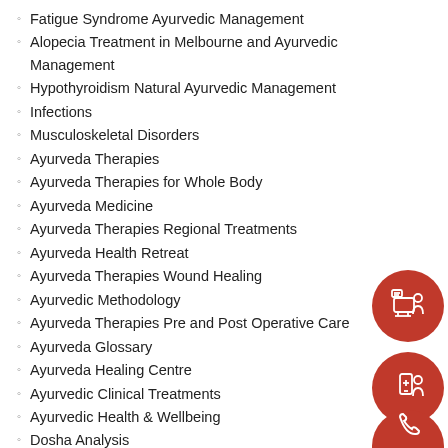Fatigue Syndrome Ayurvedic Management
Alopecia Treatment in Melbourne and Ayurvedic Management
Hypothyroidism Natural Ayurvedic Management
Infections
Musculoskeletal Disorders
Ayurveda Therapies
Ayurveda Therapies for Whole Body
Ayurveda Medicine
Ayurveda Therapies Regional Treatments
Ayurveda Health Retreat
Ayurveda Therapies Wound Healing
Ayurvedic Methodology
Ayurveda Therapies Pre and Post Operative Care
Ayurveda Glossary
Ayurveda Healing Centre
Ayurvedic Clinical Treatments
Ayurvedic Health & Wellbeing
Dosha Analysis
Ayurvedic Pulse Diagnosis
Ayurveda Body Constitution